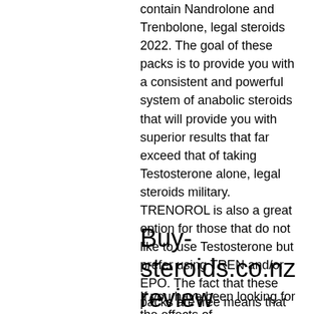contain Nandrolone and Trenbolone, legal steroids 2022. The goal of these packs is to provide you with a consistent and powerful system of anabolic steroids that will provide you with superior results that far exceed that of taking Testosterone alone, legal steroids military. TRENOROL is also a great option for those that do not like to use Testosterone but prefer using TREN and/or EPO. The fact that these packs are free means that they are not expensive to obtain and you can continue to use them indefinitely, nz trenorol. This allows you to save up for a large volume of injections or you can continually add the doses to get the benefits you are looking for. Whether you are looking to create the mass that you have always wanted or get there naturally, TRENOROL is going to provide it for you.
Buy-steroids.co.nz review
If you have been looking for the effects of